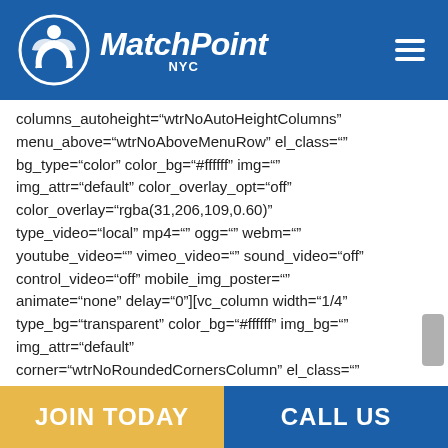[Figure (logo): MatchPoint NYC logo with circular icon and italic bold white text on blue header bar]
columns_autoheight="wtrNoAutoHeightColumns" menu_above="wtrNoAboveMenuRow" el_class="" bg_type="color" color_bg="#ffffff" img="" img_attr="default" color_overlay_opt="off" color_overlay="rgba(31,206,109,0.60)" type_video="local" mp4="" ogg="" webm="" youtube_video="" vimeo_video="" sound_video="off" control_video="off" mobile_img_poster="" animate="none" delay="0"][vc_column width="1/4" type_bg="transparent" color_bg="#ffffff" img_bg="" img_attr="default" corner="wtrNoRoundedCornersColumn" el_class="" animate="none" delay="0"][vc_single_image image="8912" alignment="center"
JOIN TODAY    CALL US